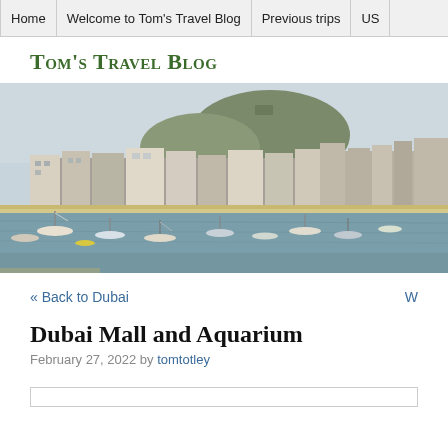Home | Welcome to Tom's Travel Blog | Previous trips | US
Tom's Travel Blog
[Figure (photo): Panoramic photo of a coastal town harbour with boats moored in calm water and buildings along the waterfront backed by a hill]
« Back to Dubai
Dubai Mall and Aquarium
February 27, 2022 by tomtotley